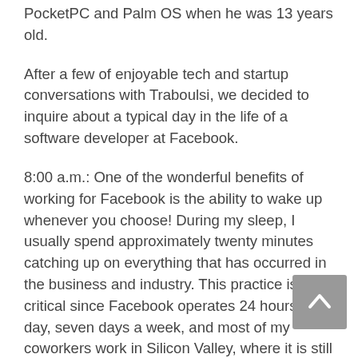PocketPC and Palm OS when he was 13 years old.
After a few of enjoyable tech and startup conversations with Traboulsi, we decided to inquire about a typical day in the life of a software developer at Facebook.
8:00 a.m.: One of the wonderful benefits of working for Facebook is the ability to wake up whenever you choose! During my sleep, I usually spend approximately twenty minutes catching up on everything that has occurred in the business and industry. This practice is critical since Facebook operates 24 hours a day, seven days a week, and most of my coworkers work in Silicon Valley, where it is still daylight while I am sleeping.
I also make a list of the most important tasks I want